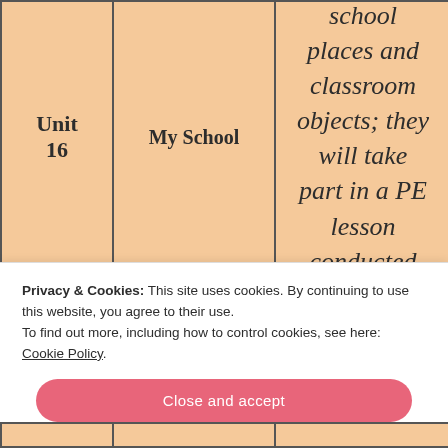| Unit | Title | Description |
| --- | --- | --- |
| Unit 16 | My School | school places and classroom objects; they will take part in a PE lesson conducted mostly in French and will combine learning to express preferences. Children... |
Privacy & Cookies: This site uses cookies. By continuing to use this website, you agree to their use.
To find out more, including how to control cookies, see here:
Cookie Policy.